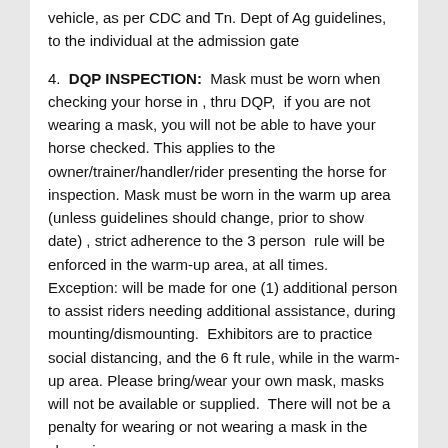vehicle, as per CDC and Tn. Dept of Ag guidelines, to the individual at the admission gate
4. DQP INSPECTION: Mask must be worn when checking your horse in , thru DQP, if you are not wearing a mask, you will not be able to have your horse checked. This applies to the owner/trainer/handler/rider presenting the horse for inspection. Mask must be worn in the warm up area (unless guidelines should change, prior to show date) , strict adherence to the 3 person rule will be enforced in the warm-up area, at all times. Exception: will be made for one (1) additional person to assist riders needing additional assistance, during mounting/dismounting. Exhibitors are to practice social distancing, and the 6 ft rule, while in the warm-up area. Please bring/wear your own mask, masks will not be available or supplied. There will not be a penalty for wearing or not wearing a mask in the show ring
5. 6 ft. Distancing guideline: Everyone is asked to not sit in the bleachers, unless you practice the 6 ft distancing and are sitting in the same row and the immediate family rule applies